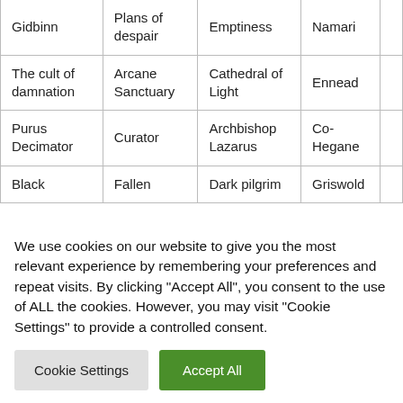| Gidbinn | Plans of despair | Emptiness | Namari |  |
| The cult of damnation | Arcane Sanctuary | Cathedral of Light | Ennead |  |
| Purus Decimator | Curator | Archbishop Lazarus | Co-Hegane |  |
| Black | Fallen | Dark pilgrim | Griswold |  |
We use cookies on our website to give you the most relevant experience by remembering your preferences and repeat visits. By clicking "Accept All", you consent to the use of ALL the cookies. However, you may visit "Cookie Settings" to provide a controlled consent.